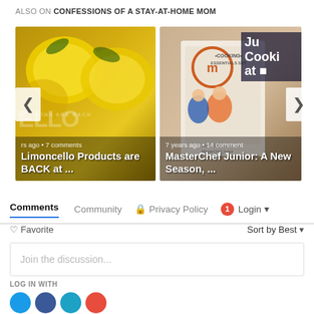ALSO ON CONFESSIONS OF A STAY-AT-HOME MOM
[Figure (screenshot): Carousel showing two blog post cards: left card is 'Limoncello Products are BACK at ...' with lemon background (rs ago • 7 comments), right card is 'MasterChef Junior: A New Season, ...' with cookbook image (7 years ago • 14 comments). Navigation arrows on left and right.]
Comments	Community	🔒 Privacy Policy	1	Login ▾
♡ Favorite
Sort by Best ▾
Join the discussion...
LOG IN WITH